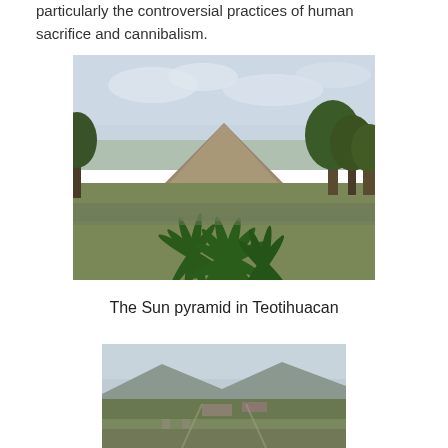particularly the controversial practices of human sacrifice and cannibalism.
[Figure (photo): Photograph of the Sun pyramid at Teotihuacan, viewed across a field with agave plants in the foreground and trees on the sides, under a cloudy sky.]
The Sun pyramid in Teotihuacan
[Figure (photo): Aerial or elevated photograph of Teotihuacan showing a wide landscape view with ruins, roads, and surrounding terrain under a hazy sky.]